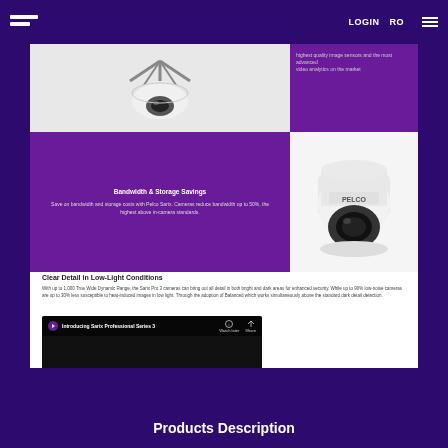LOGIN  RO
[Figure (photo): Ceiling-mounted dome camera viewed from below, white housing with dark lens]
[Figure (photo): Purple background with small text about bandwidth and storage savings]
[Figure (photo): Pelco dome security camera, white housing, side view]
Clear Detail in Low-Light Conditions
With up to 1,000 True Wide Dynamic Range, the Sarix Pro 3 cameras can bring out all detail in both bright and dark areas for enhanced security. While up to 90% low-noise cameras are up to 30% less susceptible to heat-induced images in low light. Through the adoption of Balanced which works simultaneously above the standard dark detail detection.
[Figure (screenshot): Video thumbnail showing Introducing Sarix Professional Series 3 with Pelco logo, Watch on YouTube button]
Products Description